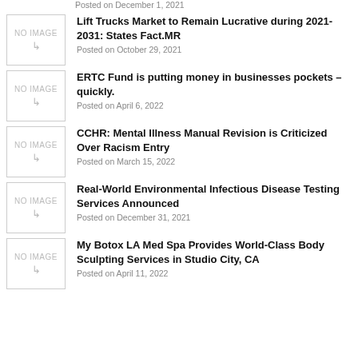Posted on December 1, 2021
Lift Trucks Market to Remain Lucrative during 2021-2031: States Fact.MR
Posted on October 29, 2021
ERTC Fund is putting money in businesses pockets – quickly.
Posted on April 6, 2022
CCHR: Mental Illness Manual Revision is Criticized Over Racism Entry
Posted on March 15, 2022
Real-World Environmental Infectious Disease Testing Services Announced
Posted on December 31, 2021
My Botox LA Med Spa Provides World-Class Body Sculpting Services in Studio City, CA
Posted on April 11, 2022